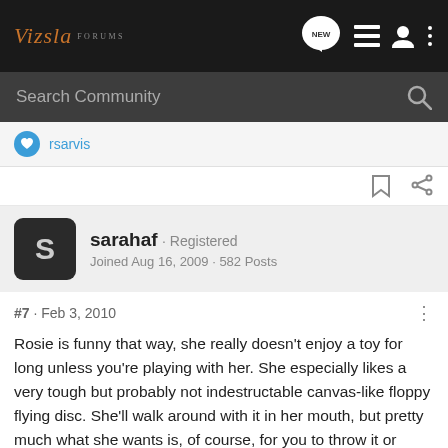Vizsla FORUMS
Search Community
rsarvis
sarahaf · Registered
Joined Aug 16, 2009 · 582 Posts
#7 · Feb 3, 2010
Rosie is funny that way, she really doesn't enjoy a toy for long unless you're playing with her. She especially likes a very tough but probably not indestructable canvas-like floppy flying disc. She'll walk around with it in her mouth, but pretty much what she wants is, of course, for you to throw it or chase her for it (my, how we love our game of chase...she chases us to be chased). She also likes empty liter sized seltzer bottles a lot--